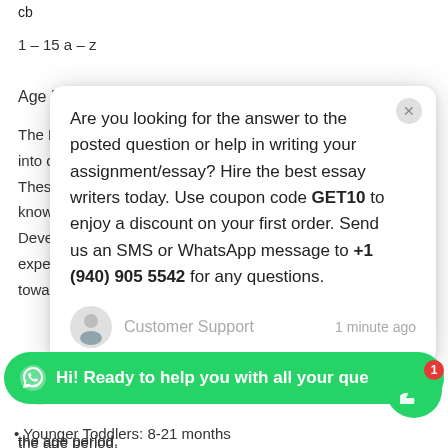cb
1 – 15 a – z
Age Periods
The D… into ov… These… know … Develo… expect… toward…
[Figure (screenshot): Chat popup overlay with message: Are you looking for the answer to the posted question or help in writing your assignment/essay? Hire the best essay writers today. Use coupon code GET10 to enjoy a discount on your first order. Send us an SMS or WhatsApp message to +1 (940) 905 5542 for any questions. Customer Support, 1 minute ago.]
the age period.
Hi! Ready to help you with all your que
Younger Toddlers: 8-21 months